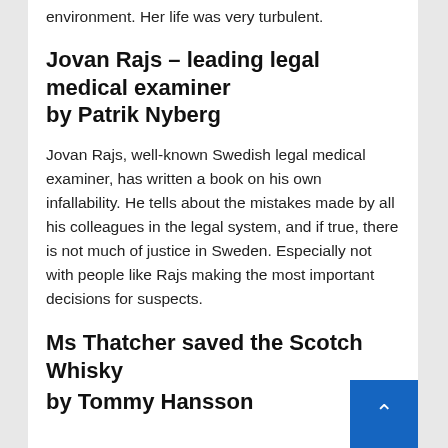environment. Her life was very turbulent.
Jovan Rajs – leading legal medical examiner
by Patrik Nyberg
Jovan Rajs, well-known Swedish legal medical examiner, has written a book on his own infallability. He tells about the mistakes made by all his colleagues in the legal system, and if true, there is not much of justice in Sweden. Especially not with people like Rajs making the most important decisions for suspects.
Ms Thatcher saved the Scotch Whisky
by Tommy Hansson